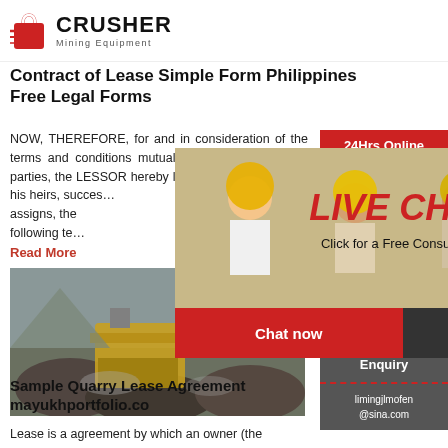CRUSHER Mining Equipment
Contract of Lease Simple Form Philippines Free Legal Forms
NOW, THEREFORE, for and in consideration of the terms and conditions mutually agreed upon by the parties, the LESSOR hereby lease unto the LESSEE, his heirs, successors and assigns, the following terms and conditions...
Read More
[Figure (photo): Mining quarry crusher machinery at a stone quarry site]
Sample Quarry Lease Agreement mayukhportfolio.co
Lease is a agreement by which an owner (the Landlord) of a
[Figure (other): Live Chat popup overlay with workers in hard hats and a customer service representative. Contains LIVE CHAT header, Click for a Free Consultation text, Chat now and Chat later buttons.]
[Figure (infographic): Right sidebar with 24Hrs Online banner, Need questions & suggestion? section with Chat Now button, Enquiry section, and limingjlmofen@sina.com email]